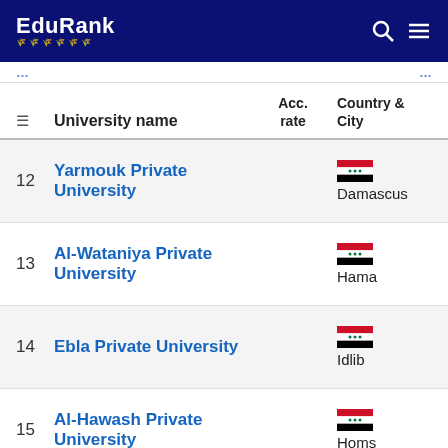EduRank
| # | University name | Acc. rate | Country & City |
| --- | --- | --- | --- |
| 12 | Yarmouk Private University |  | Damascus |
| 13 | Al-Wataniya Private University |  | Hama |
| 14 | Ebla Private University |  | Idlib |
| 15 | Al-Hawash Private University |  | Homs |